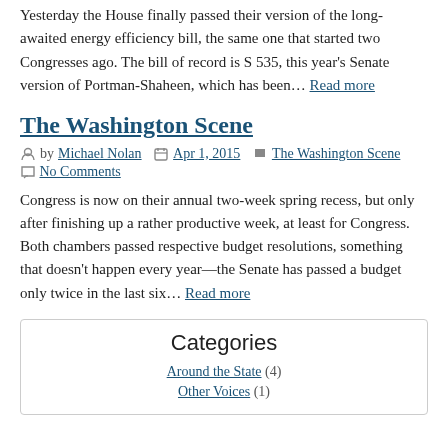Yesterday the House finally passed their version of the long-awaited energy efficiency bill, the same one that started two Congresses ago. The bill of record is S 535, this year's Senate version of Portman-Shaheen, which has been… Read more
The Washington Scene
by Michael Nolan   Apr 1, 2015   The Washington Scene
No Comments
Congress is now on their annual two-week spring recess, but only after finishing up a rather productive week, at least for Congress. Both chambers passed respective budget resolutions, something that doesn't happen every year—the Senate has passed a budget only twice in the last six… Read more
Categories
Around the State (4)
Other Voices (1)